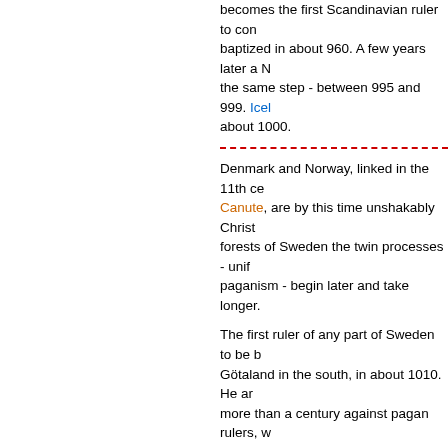becomes the first Scandinavian ruler to con... baptized in about 960. A few years later a N... the same step - between 995 and 999. Iceland... about 1000.
Denmark and Norway, linked in the 11th ce... Canute, are by this time unshakably Christ... forests of Sweden the twin processes - uni... paganism - begin later and take longer.
The first ruler of any part of Sweden to be b... Götaland in the south, in about 1010. He a... more than a century against pagan rulers, w... jealously defended shrine is at Uppsala. No... as an archbishopric, in 1164, can Sweden b... Christian.
Liturgical drama: 10th century
During the centuries of upheaval in Europe... Roman empire, theatre plays no part in life... the first millennium, in the late 10th century... introduce dramatic effects in the Easter litu... resurrection.
The gospels describe Mary Magdalene and... tomb of Jesus and finding it empty. In abou... Winchester, eager to emphasize this impor... custom which is already in use (he says) in
During the Easter morning service in Winch... arrival at the tomb of the three women, whil... ston' sits beside the high alter (the holy c...